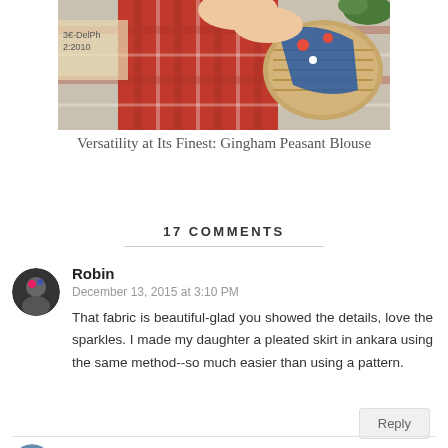[Figure (photo): Cropped photo of a person in a red gingham top holding a wicker basket with a floral blue item, partially visible. Text on cardboard sign visible in background.]
Versatility at Its Finest: Gingham Peasant Blouse
17 COMMENTS
Robin
December 13, 2015 at 3:10 PM
That fabric is beautiful-glad you showed the details, love the sparkles. I made my daughter a pleated skirt in ankara using the same method--so much easier than using a pattern.
Emileigh